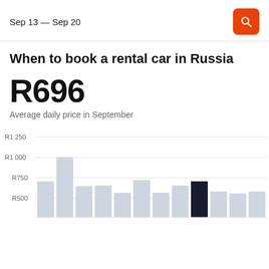Sep 13 — Sep 20
When to book a rental car in Russia
R696
Average daily price in September
[Figure (bar-chart): When to book a rental car in Russia]